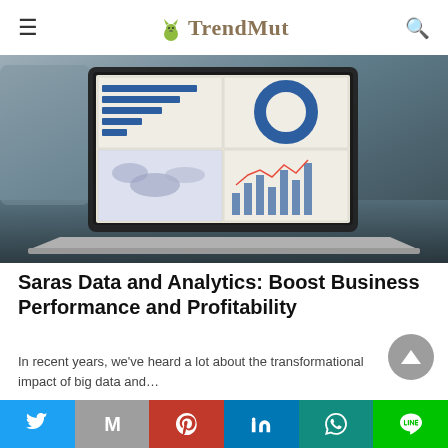TrendMut
[Figure (screenshot): Laptop showing a dashboard with bar charts, donut chart, map, and line chart on screen, resting on a dark surface.]
Saras Data and Analytics: Boost Business Performance and Profitability
In recent years, we've heard a lot about the transformational impact of big data and…